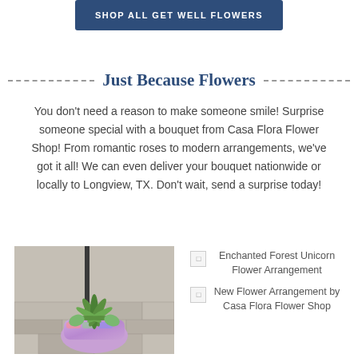[Figure (other): Dark blue button labeled SHOP ALL GET WELL FLOWERS]
Just Because Flowers
You don't need a reason to make someone smile! Surprise someone special with a bouquet from Casa Flora Flower Shop! From romantic roses to modern arrangements, we've got it all! We can even deliver your bouquet nationwide or locally to Longview, TX. Don't wait, send a surprise today!
[Figure (photo): Photo of a colorful unicorn pot with an air plant arrangement]
Enchanted Forest Unicorn Flower Arrangement
New Flower Arrangement by Casa Flora Flower Shop